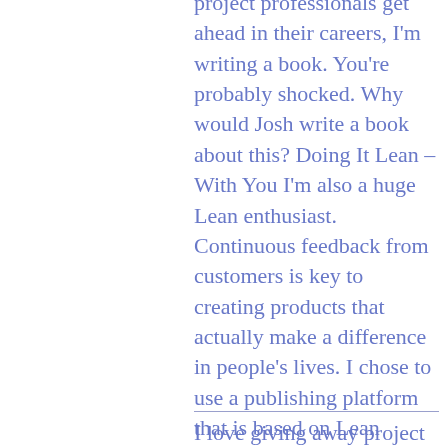project professionals get ahead in their careers, I'm writing a book. You're probably shocked. Why would Josh write a book about this? Doing It Lean – With You I'm also a huge Lean enthusiast. Continuous feedback from customers is key to creating products that actually make a difference in people's lives. I chose to use a publishing platform that is based on Lean thinking. https://leanpub.com/projectcareermasteryThe feedback from people like you is what I'm most excited about. You can:
I love giving away project